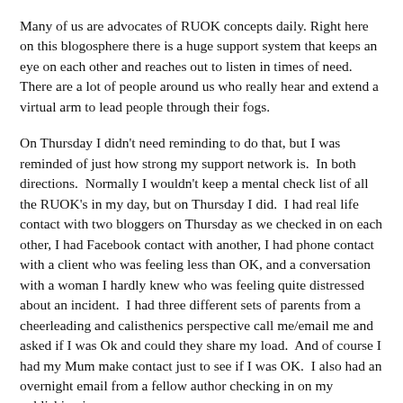Many of us are advocates of RUOK concepts daily. Right here on this blogosphere there is a huge support system that keeps an eye on each other and reaches out to listen in times of need. There are a lot of people around us who really hear and extend a virtual arm to lead people through their fogs.
On Thursday I didn't need reminding to do that, but I was reminded of just how strong my support network is. In both directions. Normally I wouldn't keep a mental check list of all the RUOK's in my day, but on Thursday I did. I had real life contact with two bloggers on Thursday as we checked in on each other, I had Facebook contact with another, I had phone contact with a client who was feeling less than OK, and a conversation with a woman I hardly knew who was feeling quite distressed about an incident. I had three different sets of parents from a cheerleading and calisthenics perspective call me/email me and asked if I was Ok and could they share my load. And of course I had my Mum make contact just to see if I was OK. I also had an overnight email from a fellow author checking in on my publishing journey.
Today I am grateful for my support network. I am pleased there